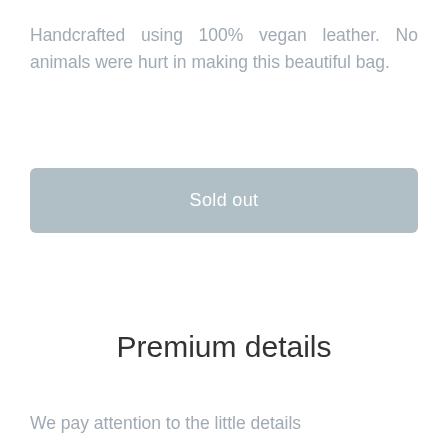Handcrafted using 100% vegan leather. No animals were hurt in making this beautiful bag.
[Figure (other): Sold out button - a large light grey rounded rectangle button with white text reading 'Sold out']
Premium details
We pay attention to the little details